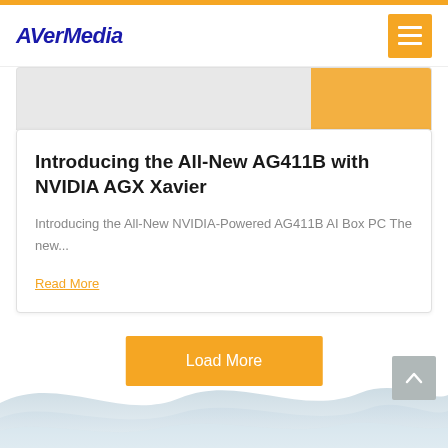AverMedia
Introducing the All-New AG411B with NVIDIA AGX Xavier
Introducing the All-New NVIDIA-Powered AG411B AI Box PC The new...
Read More
Load More